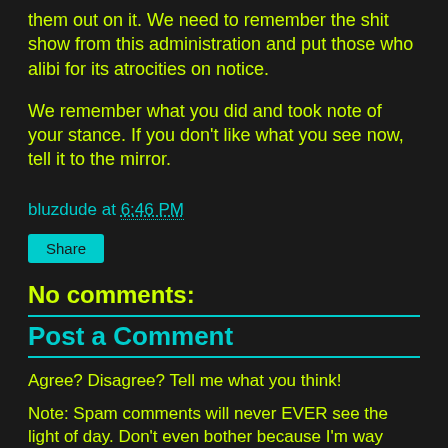them out on it. We need to remember the shit show from this administration and put those who alibi for its atrocities on notice.
We remember what you did and took note of your stance. If you don't like what you see now, tell it to the mirror.
bluzdude at 6:46 PM
Share
No comments:
Post a Comment
Agree? Disagree? Tell me what you think!
Note: Spam comments will never EVER see the light of day. Don't even bother because I'm way more stubborn than you.